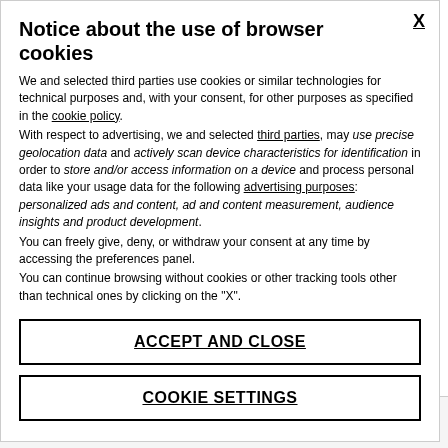Notice about the use of browser cookies
We and selected third parties use cookies or similar technologies for technical purposes and, with your consent, for other purposes as specified in the cookie policy.
With respect to advertising, we and selected third parties, may use precise geolocation data and actively scan device characteristics for identification in order to store and/or access information on a device and process personal data like your usage data for the following advertising purposes: personalized ads and content, ad and content measurement, audience insights and product development.
You can freely give, deny, or withdraw your consent at any time by accessing the preferences panel.
You can continue browsing without cookies or other tracking tools other than technical ones by clicking on the "X".
ACCEPT AND CLOSE
COOKIE SETTINGS
displaySeparator = true,var showCommentNum = false,var commentTemplate = false,var onlyPostComments